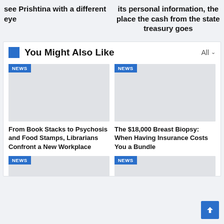see Prishtina with a different eye
its personal information, the place the cash from the state treasury goes
You Might Also Like
[Figure (screenshot): News card image placeholder (grey rectangle) with NEWS badge]
From Book Stacks to Psychosis and Food Stamps, Librarians Confront a New Workplace
[Figure (screenshot): News card image placeholder (grey rectangle) with NEWS badge]
The $18,000 Breast Biopsy: When Having Insurance Costs You a Bundle
[Figure (screenshot): News card image placeholder (grey rectangle) with NEWS badge, bottom-left]
[Figure (screenshot): News card image placeholder (grey rectangle) with NEWS badge, bottom-right]